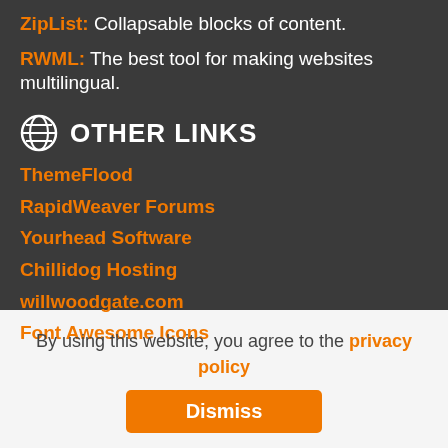ZipList: Collapsable blocks of content.
RWML: The best tool for making websites multilingual.
OTHER LINKS
ThemeFlood
RapidWeaver Forums
Yourhead Software
Chillidog Hosting
willwoodgate.com
Font Awesome Icons
By using this website, you agree to the privacy policy
Dismiss